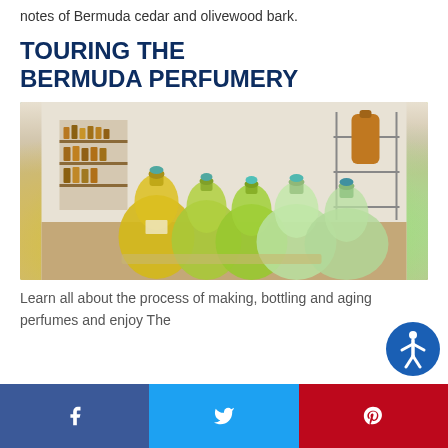notes of Bermuda cedar and olivewood bark.
TOURING THE BERMUDA PERFUMERY
[Figure (photo): Large glass carboys/demijohn bottles filled with yellow and green liquid perfume essences on a table in a perfumery workshop, with smaller bottles on shelves in the background.]
Learn all about the process of making, bottling and aging perfumes and enjoy The